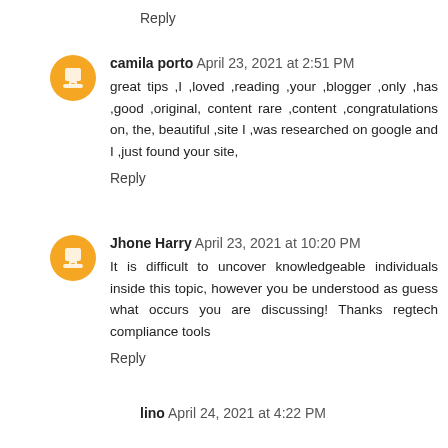Reply
camila porto April 23, 2021 at 2:51 PM
great tips ,I ,loved ,reading ,your ,blogger ,only ,has ,good ,original, content rare ,content ,congratulations on, the, beautiful ,site I ,was researched on google and I ,just found your site,
Reply
Jhone Harry April 23, 2021 at 10:20 PM
It is difficult to uncover knowledgeable individuals inside this topic, however you be understood as guess what occurs you are discussing! Thanks regtech compliance tools
Reply
lino April 24, 2021 at 4:22 PM